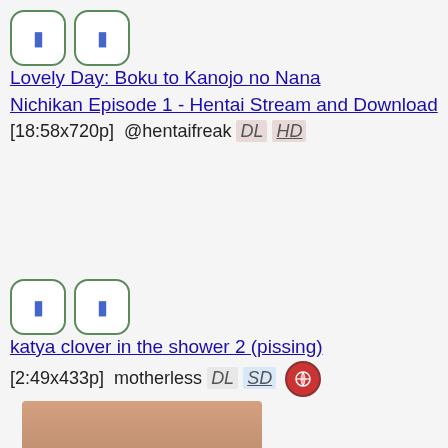Lovely Day: Boku to Kanojo no Nana Nichikan Episode 1 - Hentai Stream and Download [18:58x720p]  @hentaifreak DL HD
katya clover in the shower 2 (pissing) [2:49x433p]  motherless DL SD